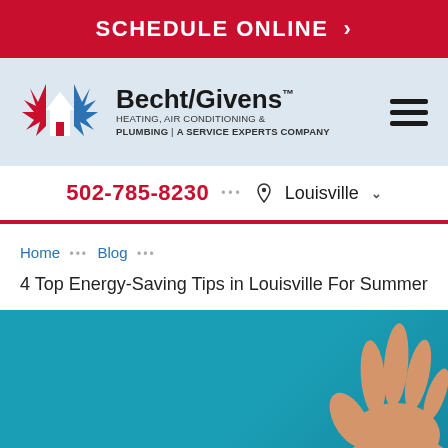SCHEDULE ONLINE >
[Figure (logo): Becht/Givens Heating, Air Conditioning & Plumbing | A Service Experts Company logo with flame and snowflake icon]
502-785-8230 ••• Louisville
Home ••• Blog •••
4 Top Energy-Saving Tips in Louisville For Summer
[Figure (photo): Teal/blue background with a person's hand visible in the lower right corner]